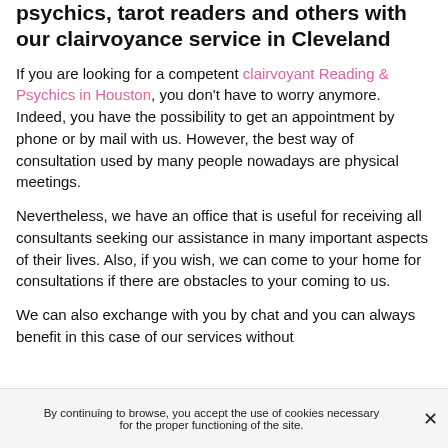psychics, tarot readers and others with our clairvoyance service in Cleveland
If you are looking for a competent clairvoyant Reading & Psychics in Houston, you don't have to worry anymore. Indeed, you have the possibility to get an appointment by phone or by mail with us. However, the best way of consultation used by many people nowadays are physical meetings.
Nevertheless, we have an office that is useful for receiving all consultants seeking our assistance in many important aspects of their lives. Also, if you wish, we can come to your home for consultations if there are obstacles to your coming to us.
We can also exchange with you by chat and you can always benefit in this case of our services without
By continuing to browse, you accept the use of cookies necessary for the proper functioning of the site.